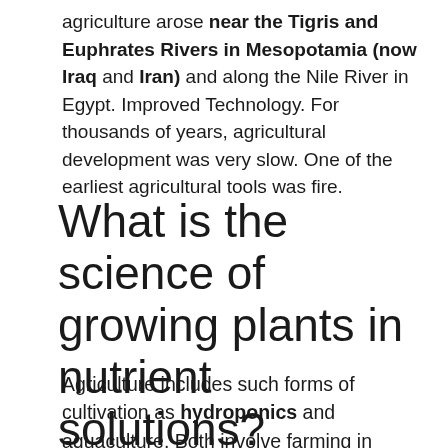agriculture arose near the Tigris and Euphrates Rivers in Mesopotamia (now Iraq and Iran) and along the Nile River in Egypt. Improved Technology. For thousands of years, agricultural development was very slow. One of the earliest agricultural tools was fire.
What is the science of growing plants in nutrient solutions?
Agriculture includes such forms of cultivation as hydroponics and aquaculture. Both involve farming in water. Hydroponics is the science of growing plants in nutrient